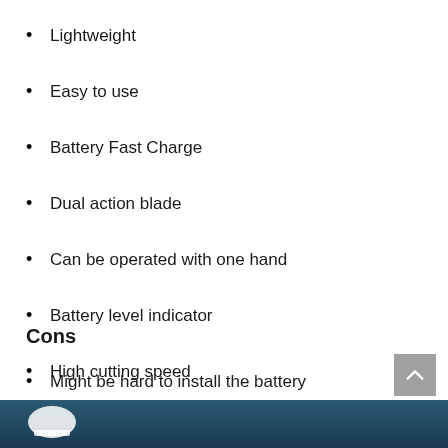Lightweight
Easy to use
Battery Fast Charge
Dual action blade
Can be operated with one hand
Battery level indicator
High cutting speed
Cons
Might be hard to install the battery
[Figure (other): Footer bar with dark teal/navy gradient background and a white circular/dome icon in the bottom left corner. A grey back-to-top button with an upward chevron arrow is in the bottom right.]